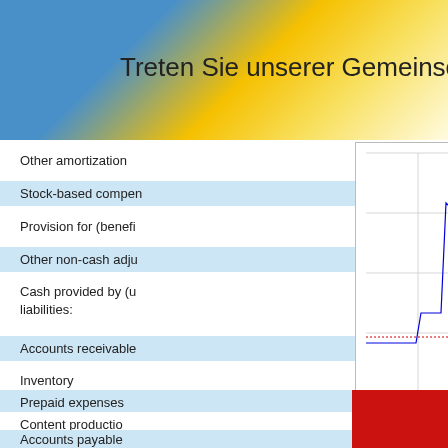Treten Sie unserer Gemeinschaft bei
Other amortization
Stock-based compensation
Provision for (benefit
Other non-cash adjustments
Cash provided by (used in) changes in assets and liabilities:
[Figure (continuous-plot): Stock price intraday chart showing price range approximately 67.6 to 68.2, with x-axis showing time 1100 to 2300, watermark 'Pre' and 'AH', source (c) www.advfn.com]
Accounts receivable
Inventory
Prepaid expenses
Content production
Accounts payable
Deferred revenues
Net cash provided by
[Figure (infographic): Red advertisement overlay: SEHEN SIE ES. TAUSCH ES! Mehrere Aktienkurse auf einer Seite anzeigen. Leicht anpassbare...]